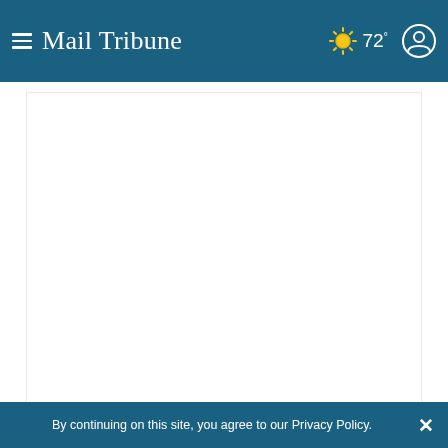Mail Tribune — 72°
[Figure (photo): White/blank image area representing a photo of Healthy U Ltd. director Kia Sanford working with Trudy Conklin of Central Point on the bioelectrical impedence analysis machine.]
Healthy U Ltd. director Kia Sanford works with Trudy Conklin of Central Point on the bioelectrical impedence analysis machine, which measures the makeup and location of unwanted, unhealthy and extra pounds. Jim Craven 3/6/2007
[Figure (other): Social share buttons: Facebook, Twitter, Email]
By continuing on this site, you agree to our Privacy Policy.